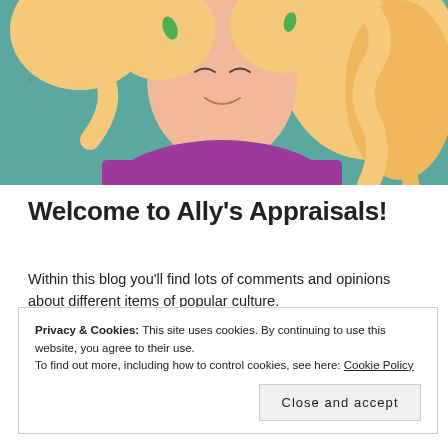[Figure (illustration): Illustrated cartoon character of a young woman with long blonde curly hair, wearing a purple top, against a teal/green background with small leaf accents in hair]
Welcome to Ally's Appraisals!
Within this blog you'll find lots of comments and opinions about different items of popular culture.
While there is a noticeable lack of property evaluation, I hope you find some value in my pop culture appraisals.
Privacy & Cookies: This site uses cookies. By continuing to use this website, you agree to their use.
To find out more, including how to control cookies, see here: Cookie Policy
Close and accept